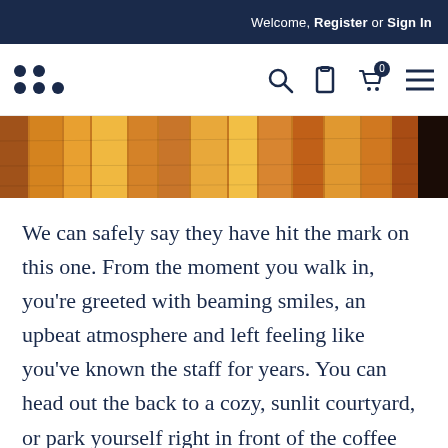Welcome, Register or Sign In
[Figure (logo): Dot grid logo mark in dark navy blue]
[Figure (other): Navigation bar with search, bookmark, cart (0), and menu icons]
[Figure (photo): Wooden wall or fence panels, warm toned cedar/redwood, partially cropped]
We can safely say they have hit the mark on this one. From the moment you walk in, you're greeted with beaming smiles, an upbeat atmosphere and left feeling like you've known the staff for years. You can head out the back to a cozy, sunlit courtyard, or park yourself right in front of the coffee machine and watch the magic happen (really